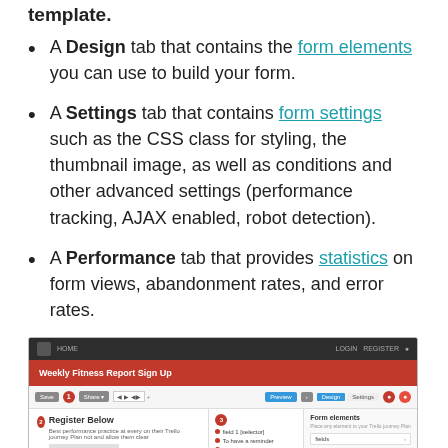template.
A Design tab that contains the form elements you can use to build your form.
A Settings tab that contains form settings such as the CSS class for styling, the thumbnail image, as well as conditions and other advanced settings (performance tracking, AJAX enabled, robot detection).
A Performance tab that provides statistics on form views, abandonment rates, and error rates.
[Figure (screenshot): Screenshot of a form builder interface showing a Weekly Fitness Report Sign Up form with Design tab active, form elements panel on the right, and form editing area on the left.]